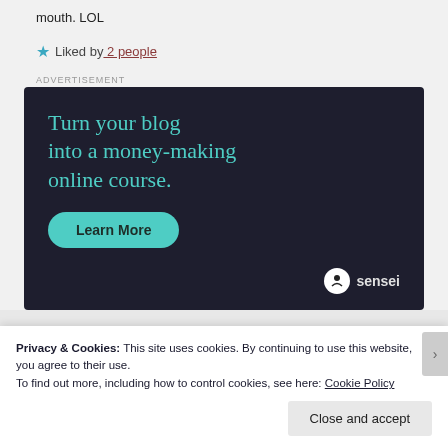mouth. LOL
Liked by 2 people
[Figure (infographic): Advertisement banner for Sensei: 'Turn your blog into a money-making online course.' with a 'Learn More' button and Sensei logo at bottom right on a dark navy background.]
Privacy & Cookies: This site uses cookies. By continuing to use this website, you agree to their use.
To find out more, including how to control cookies, see here: Cookie Policy